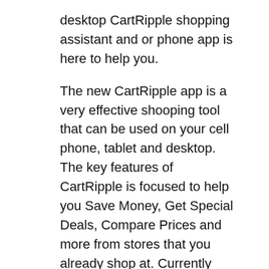desktop CartRipple shopping assistant and or phone app is here to help you.
The new CartRipple app is a very effective shooping tool that can be used on your cell phone, tablet and desktop.  The key features of CartRipple is focused to help you Save Money, Get Special Deals, Compare Prices and more from stores that you already shop at. Currently there's only 2,000 stores that post their sales to CartRipple but many of these stores are ones that you know. Even if you're looking for something that's NOT on sale, the CartRipple App can still show you who has it at the cheapest price. On top of finding the savings you can then accumulate real cashback money on every dollar you spend when you purchase your items through the CartRipple Shopping App. It's almost like these stores (Groupon, Restaurant